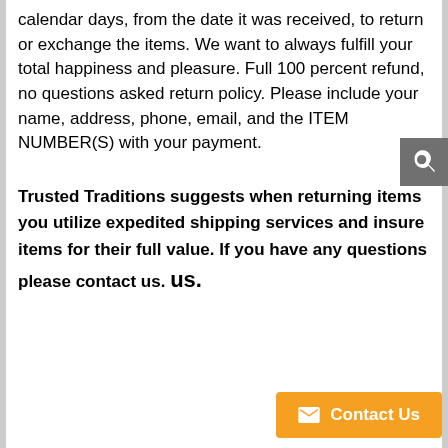calendar days, from the date it was received, to return or exchange the items. We want to always fulfill your total happiness and pleasure. Full 100 percent refund, no questions asked return policy. Please include your name, address, phone, email, and the ITEM NUMBER(S) with your payment.
Trusted Traditions suggests when returning items you utilize expedited shipping services and insure items for their full value. If you have any questions please contact us. us.